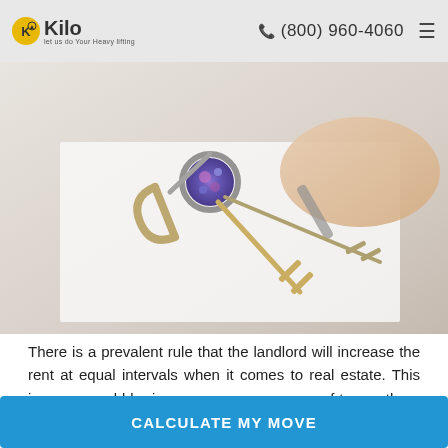Kilo — Let us do Your Heavy lifting | (800) 960-4060
[Figure (photo): A hand holding a set of keys including a decorative blue/purple key fob with multiple keys on a ring, placed on a white surface, with a hand signing a document in the background.]
There is a prevalent rule that the landlord will increase the rent at equal intervals when it comes to real estate. This increase could be in a year or even a span of two or three years, as stated in the contract.
Usually, each landlord has his standard percentage of
CALCULATE MY MOVE